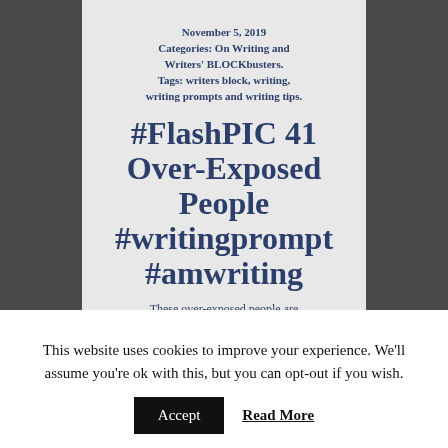November 5, 2019
Categories: On Writing and Writers' BLOCKbusters.
Tags: writers block, writing, writing prompts and writing tips.
#FlashPIC 41 Over-Exposed People #writingprompt #amwriting
These over-exposed people are
This website uses cookies to improve your experience. We'll assume you're ok with this, but you can opt-out if you wish.
Accept   Read More